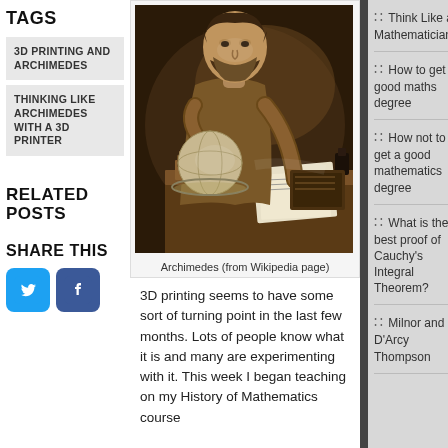TAGS
3D PRINTING AND ARCHIMEDES
THINKING LIKE ARCHIMEDES WITH A 3D PRINTER
[Figure (photo): Classical painting of Archimedes at a desk, studying papers with books and instruments around him]
Archimedes (from Wikipedia page)
RELATED POSTS
SHARE THIS
3D printing seems to have some sort of turning point in the last few months. Lots of people know what it is and many are experimenting with it. This week I began teaching on my History of Mathematics course
Think Like a Mathematician
How to get a good maths degree
How not to get a good mathematics degree
What is the best proof of Cauchy's Integral Theorem?
Milnor and D'Arcy Thompson